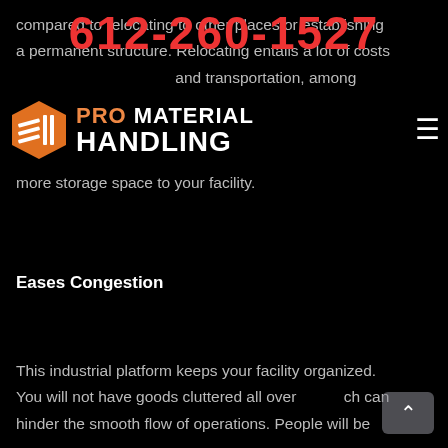612-260-1527
[Figure (logo): Pro Material Handling logo with orange box icon and text]
compared to relocating to other places or establishing a permanent structure. Relocating entails a lot of costs and transportation, among others. Since a mezzanine can be designed and installed within a short time, it means normal business operations will not be halted by the process of adding more storage space to your facility.
Eases Congestion
This industrial platform keeps your facility organized. You will not have goods cluttered all over, which can hinder the smooth flow of operations. People will be